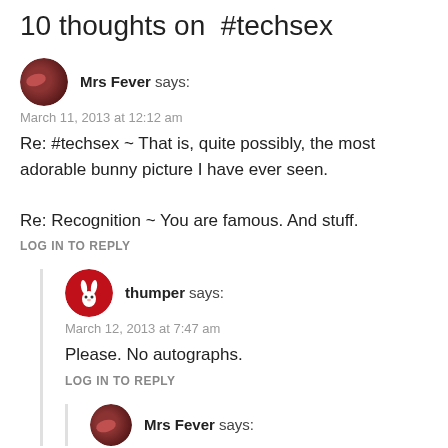10 thoughts on  #techsex
Mrs Fever says:
March 11, 2013 at 12:12 am
Re: #techsex ~ That is, quite possibly, the most adorable bunny picture I have ever seen.

Re: Recognition ~ You are famous. And stuff.
LOG IN TO REPLY
thumper says:
March 12, 2013 at 7:47 am
Please. No autographs.
LOG IN TO REPLY
Mrs Fever says: